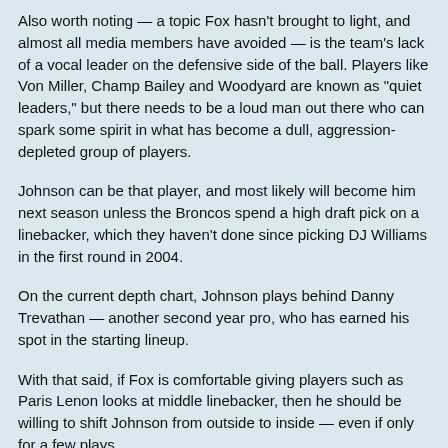Also worth noting — a topic Fox hasn't brought to light, and almost all media members have avoided — is the team's lack of a vocal leader on the defensive side of the ball. Players like Von Miller, Champ Bailey and Woodyard are known as "quiet leaders," but there needs to be a loud man out there who can spark some spirit in what has become a dull, aggression-depleted group of players.
Johnson can be that player, and most likely will become him next season unless the Broncos spend a high draft pick on a linebacker, which they haven't done since picking DJ Williams in the first round in 2004.
On the current depth chart, Johnson plays behind Danny Trevathan — another second year pro, who has earned his spot in the starting lineup.
With that said, if Fox is comfortable giving players such as Paris Lenon looks at middle linebacker, then he should be willing to shift Johnson from outside to inside — even if only for a few plays.
If you re-watch the tackle Johnson made on Charles — and yes, it's only one play, then you can see that Johnson read the play like a middle linebacker and has the instincts to play the position, although its not his natural one.
On a team led by a record-setting Peyton Manning, it may sound preposterous that a small-time, special teams player like Johnson could be the difference between Super Bowl or bust, but the stakes are too high not to give the man more looks over the next few weeks. If the team isn't happy with its defensive production — and it shouldn't be —